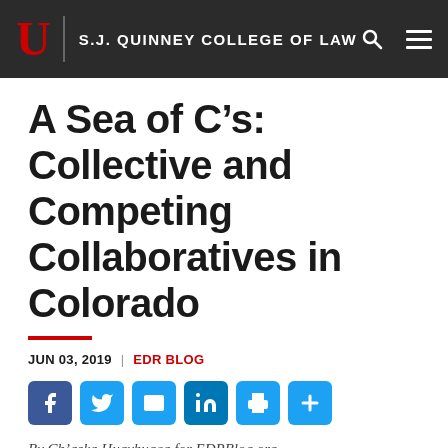U | S.J. QUINNEY COLLEGE OF LAW
A Sea of C’s: Collective and Competing Collaboratives in Colorado
JUN 03, 2019 | EDR BLOG
[Figure (other): Social share icons: Facebook, Twitter, Email, LinkedIn, Print, Share]
By Ch’aska Huayhuaca for EDRBlog.org